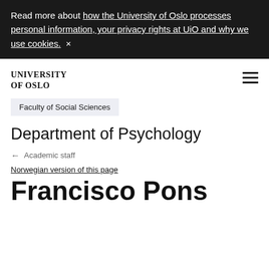Read more about how the University of Oslo processes personal information, your privacy rights at UiO and why we use cookies. ×
UNIVERSITY OF OSLO
Faculty of Social Sciences
Department of Psychology
← Academic staff
Norwegian version of this page
Francisco Pons